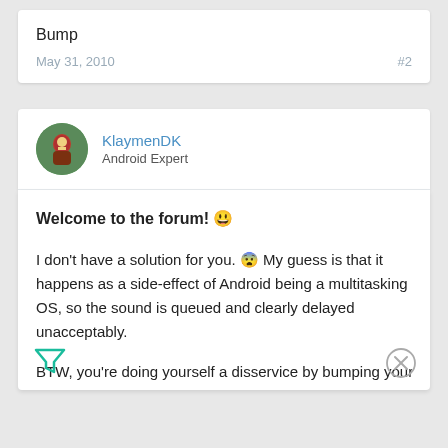Bump
May 31, 2010   #2
KlaymenDK
Android Expert
Welcome to the forum! 😁

I don't have a solution for you. 😮 My guess is that it happens as a side-effect of Android being a multitasking OS, so the sound is queued and clearly delayed unacceptably.

BTW, you're doing yourself a disservice by bumping your